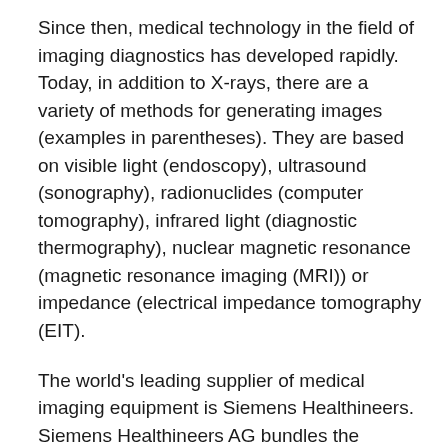Since then, medical technology in the field of imaging diagnostics has developed rapidly. Today, in addition to X-rays, there are a variety of methods for generating images (examples in parentheses). They are based on visible light (endoscopy), ultrasound (sonography), radionuclides (computer tomography), infrared light (diagnostic thermography), nuclear magnetic resonance (magnetic resonance imaging (MRI)) or impedance (electrical impedance tomography (EIT).
The world's leading supplier of medical imaging equipment is Siemens Healthineers. Siemens Healthineers AG bundles the medical technology activities of the Siemens Group. It has around 54,000 employees and achieved sales of around €14.5 billion in 2020. Imaging processes are mainly located in the business unit “Diagnostic Imaging”. Siemens Healthineers covers virtually the entire spectrum of diagnostic imaging. Its world market share is just under a quarter. Other German